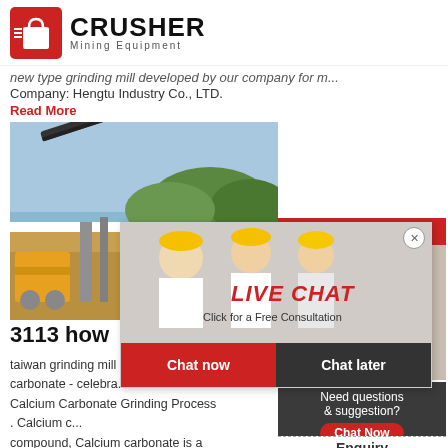[Figure (logo): Crusher Mining Equipment logo with red shopping bag icon and bold text]
new type grinding mill developed by our company for m...
Company: Hengtu Industry Co., LTD.
Read More
[Figure (photo): Mining quarry site with conveyor belt and excavator equipment]
3113 how
[Figure (photo): Live Chat popup with workers in hard hats, LIVE CHAT text, Click for a Free Consultation, Chat now and Chat later buttons]
[Figure (photo): 24Hrs Online customer service representative with headset]
taiwan grinding mill calcium carbonate - celebra... Calcium Carbonate Grinding Process . Calcium c... compound, Calcium carbonate is a raw material... used in the industrial production, the use of calci... carbonate in industry is mainly manifested in th... industries, such as the PVC industry,rubber indu...
Read More
Need questions & suggestion?
Chat Now
Enquiry
limingjlmofen@sina.com